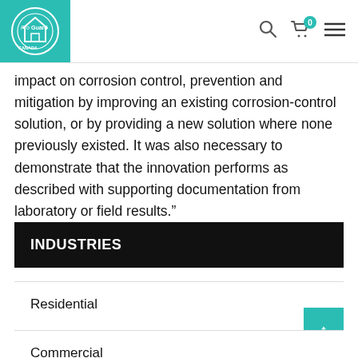ProGuard Canada logo, search icon, cart (0), menu
impact on corrosion control, prevention and mitigation by improving an existing corrosion-control solution, or by providing a new solution where none previously existed. It was also necessary to demonstrate that the innovation performs as described with supporting documentation from laboratory or field results."
INDUSTRIES
Residential
Commercial